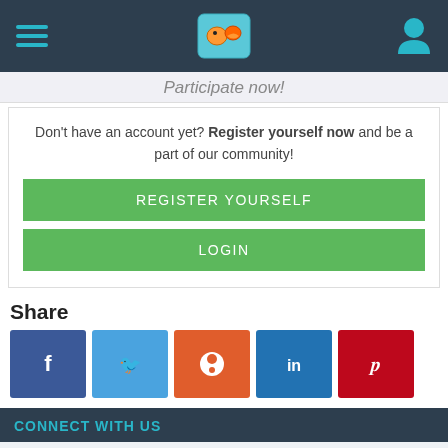Navigation bar with hamburger menu, fish logo, and user icon
Participate now!
Don't have an account yet? Register yourself now and be a part of our community!
REGISTER YOURSELF
LOGIN
Share
[Figure (infographic): Five social media share buttons: Facebook (blue), Twitter (light blue), Reddit (orange-red), LinkedIn (blue), Pinterest (dark red)]
CONNECT WITH US
This site uses cookies. By continuing to browse this site, you are agreeing to our use of cookies.
More Details
Close